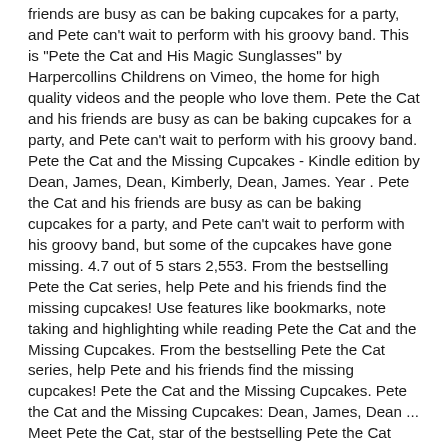friends are busy as can be baking cupcakes for a party, and Pete can't wait to perform with his groovy band. This is "Pete the Cat and His Magic Sunglasses" by Harpercollins Childrens on Vimeo, the home for high quality videos and the people who love them. Pete the Cat and his friends are busy as can be baking cupcakes for a party, and Pete can't wait to perform with his groovy band. Pete the Cat and the Missing Cupcakes - Kindle edition by Dean, James, Dean, Kimberly, Dean, James. Year . Pete the Cat and his friends are busy as can be baking cupcakes for a party, and Pete can't wait to perform with his groovy band, but some of the cupcakes have gone missing. 4.7 out of 5 stars 2,553. From the bestselling Pete the Cat series, help Pete and his friends find the missing cupcakes! Use features like bookmarks, note taking and highlighting while reading Pete the Cat and the Missing Cupcakes. From the bestselling Pete the Cat series, help Pete and his friends find the missing cupcakes! Pete the Cat and the Missing Cupcakes. Pete the Cat and the Missing Cupcakes: Dean, James, Dean ... Meet Pete the Cat, star of the bestselling Pete the Cat book series by James Dean! Play Video; Pete the Cat and the Cool Cat Boogie: Dance-Along! Hardcover. Pete the cat and the missing cupcakes | Read Aloud | Storytime von Jacqueline Mitchell vor 3 Jahren 4 Minuten, 54 Sekunden 279.878 Aufrufe This video is about , Pete the cat , and the missing cupcakes read by Jacqueline Mitchell. Title: pete-cupcake(C) Created Date: 10/30/2020 10:30:17 PM But some of the cupcakes have gone missing... Pete the Cat and his friends are busy as can be baking cupcakes for a party, and Pete can't wait to pe... More Join Pete the Cat in a brand-new story and help him and his friends find the missing cupcakes! But some of the cupcakes have gone missing! Briarpatch Pete The Cat The Missing Cupcakes Game Based